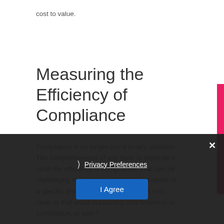cost to value.
Measuring the Efficiency of Compliance
Compliance is no longer just a binary question. The competitiveness of any bank is dependent upon the efficiency of compliance. That can be challenging to understand when the purpose of a specific process or information asset isn't clear; is that asset supporting core business or compliance, or both?
LINQ's Information Flow... sure that every process and information asset is connected to the purpose that it is